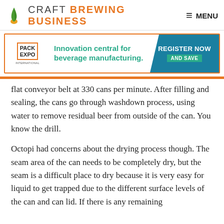CRAFT BREWING BUSINESS  MENU
[Figure (infographic): Pack Expo International advertisement banner: 'Innovation central for beverage manufacturing.' with REGISTER NOW AND SAVE button]
flat conveyor belt at 330 cans per minute. After filling and sealing, the cans go through washdown process, using water to remove residual beer from outside of the can. You know the drill.
Octopi had concerns about the drying process though. The seam area of the can needs to be completely dry, but the seam is a difficult place to dry because it is very easy for liquid to get trapped due to the different surface levels of the can and can lid. If there is any remaining